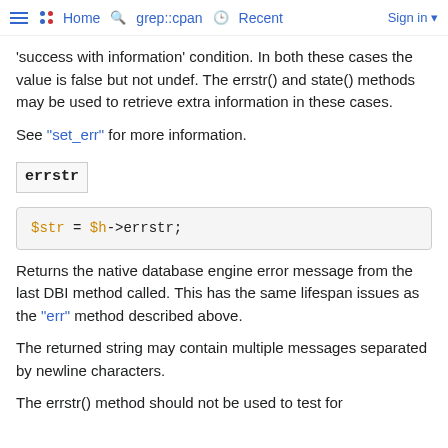Home  grep::cpan  Recent  Sign in
'success with information' condition. In both these cases the value is false but not undef. The errstr() and state() methods may be used to retrieve extra information in these cases.
See "set_err" for more information.
errstr
$str = $h->errstr;
Returns the native database engine error message from the last DBI method called. This has the same lifespan issues as the "err" method described above.
The returned string may contain multiple messages separated by newline characters.
The errstr() method should not be used to test for